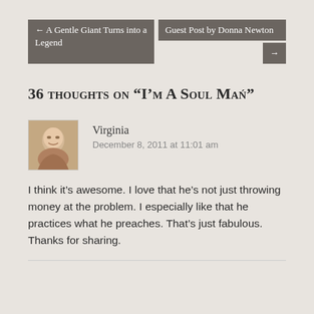← A Gentle Giant Turns into a Legend | Guest Post by Donna Newton →
36 thoughts on “I’m A Soul Man”
Virginia
December 8, 2011 at 11:01 am
I think it’s awesome. I love that he’s not just throwing money at the problem. I especially like that he practices what he preaches. That’s just fabulous. Thanks for sharing.